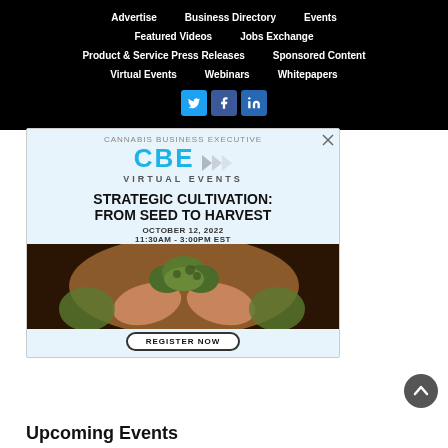Advertise | Business Directory | Events | Featured Videos | Jobs Exchange | Product & Service Press Releases | Sponsored Content | Virtual Events | Webinars | Whitepapers
[Figure (illustration): CBE Virtual Events advertisement banner: Strategic Cultivation: From Seed to Harvest, October 12, 2022, 11:30AM - 3:00PM EST, with Register Now button and photo of hands holding cannabis buds]
Upcoming Events